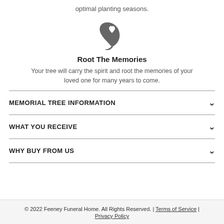optimal planting seasons.
[Figure (illustration): A leaf icon with a heart shape in the center, rendered in dark gray.]
Root The Memories
Your tree will carry the spirit and root the memories of your loved one for many years to come.
MEMORIAL TREE INFORMATION
WHAT YOU RECEIVE
WHY BUY FROM US
© 2022 Feeney Funeral Home. All Rights Reserved. | Terms of Service | Privacy Policy